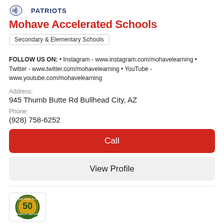[Figure (logo): Patriots school logo with eagle/shield icon and text PATRIOTS in dark blue]
Mohave Accelerated Schools
Secondary & Elementary Schools
FOLLOW US ON: • Instagram - www.instagram.com/mohavelearning • Twitter - www.twitter.com/mohavelearning • YouTube - www.youtube.com/mohavelearning
Address:
945 Thumb Butte Rd Bullhead City, AZ
Phone:
(928) 758-6252
Call
View Profile
[Figure (logo): Mohave High School 50 Years of Tradition circular gold and green emblem]